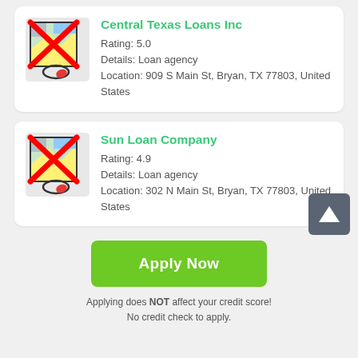[Figure (screenshot): Card listing for Central Texas Loans Inc with a broken map icon (red X over map graphic), rating 5.0, details: Loan agency, location: 909 S Main St, Bryan, TX 77803, United States]
[Figure (screenshot): Card listing for Sun Loan Company with a broken map icon (red X over map graphic), rating 4.9, details: Loan agency, location: 302 N Main St, Bryan, TX 77803, United States]
[Figure (other): Green Apply Now button]
Applying does NOT affect your credit score! No credit check to apply.